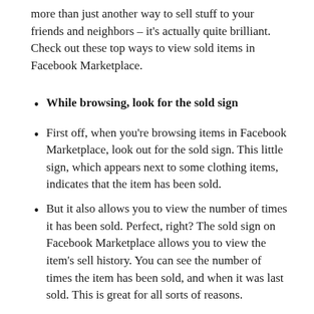more than just another way to sell stuff to your friends and neighbors – it's actually quite brilliant. Check out these top ways to view sold items in Facebook Marketplace.
While browsing, look for the sold sign
First off, when you're browsing items in Facebook Marketplace, look out for the sold sign. This little sign, which appears next to some clothing items, indicates that the item has been sold.
But it also allows you to view the number of times it has been sold. Perfect, right? The sold sign on Facebook Marketplace allows you to view the item's sell history. You can see the number of times the item has been sold, and when it was last sold. This is great for all sorts of reasons.